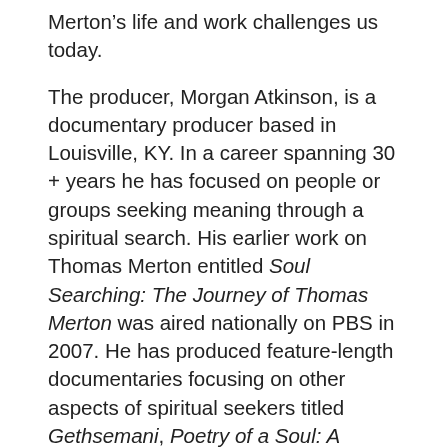Merton’s life and work challenges us today.
The producer, Morgan Atkinson, is a documentary producer based in Louisville, KY. In a career spanning 30 + years he has focused on people or groups seeking meaning through a spiritual search. His earlier work on Thomas Merton entitled Soul Searching: The Journey of Thomas Merton was aired nationally on PBS in 2007. He has produced feature-length documentaries focusing on other aspects of spiritual seekers titled Gethsemani, Poetry of a Soul: A Monk’s Story and Uncommon Vision: The Life and Times of John Howard Griffin. See www.morganatkinson.com for more details.
Stay for a discussion with the producer/writer following the documentary. Refreshments, Tibetan